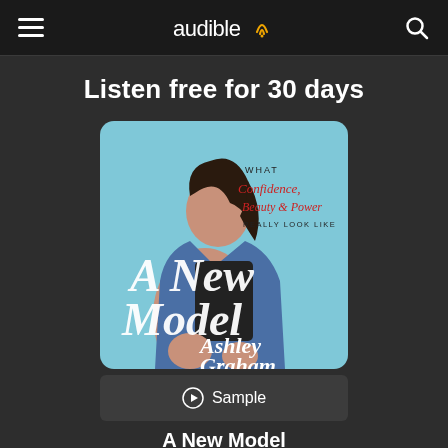audible
Listen free for 30 days
[Figure (illustration): Book cover for 'A New Model' by Ashley Graham. Light blue background with a woman in a denim jacket and black swimsuit. Text reads: WHAT Confidence, Beauty & Power REALLY LOOK LIKE / A New Model / Ashley Graham]
Sample
A New Model